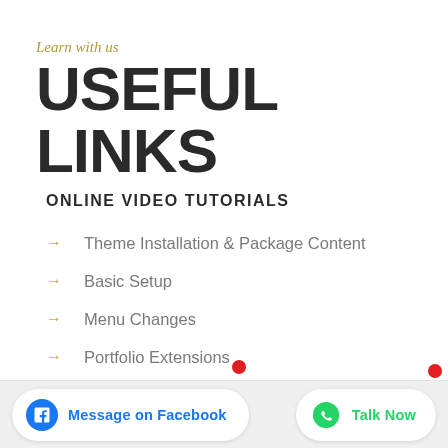Learn with us
USEFUL LINKS
ONLINE VIDEO TUTORIALS
Theme Installation & Package Content
Basic Setup
Menu Changes
Portfolio Extensions
Getting Around Presets
Package Updates & Automatic
Message on Facebook
Talk Now